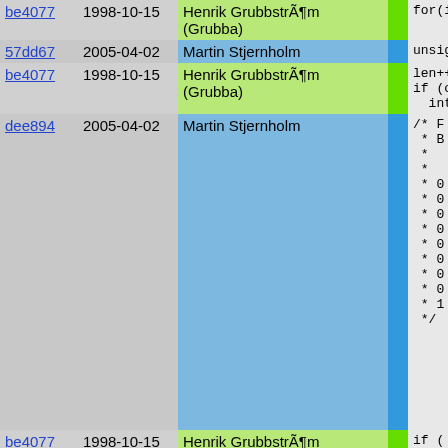| hash | date | author | stripe | code |
| --- | --- | --- | --- | --- |
| be4077 | 1998-10-15 | Henrik GrubbstrÃ¶m (Grubba) |  | for(i=0, |
| 57dd67 | 2005-04-02 | Martin Stjernholm |  | unsign |
| be4077 | 1998-10-15 | Henrik GrubbstrÃ¶m (Grubba) |  | len++;
if (c
  int |
| dee894 | 2005-04-02 | Martin Stjernholm |  | /* F
 * B
 *
 *
 * 0
 * 0
 * 0
 * 0
 * 0
 * 0
 * 0
 * 0
 * 1
 */ |
| be4077 | 1998-10-15 | Henrik GrubbstrÃ¶m (Grubba) |  | if ( |
| dee894 | 2005-04-02 | Martin Stjernholm |  | ba |